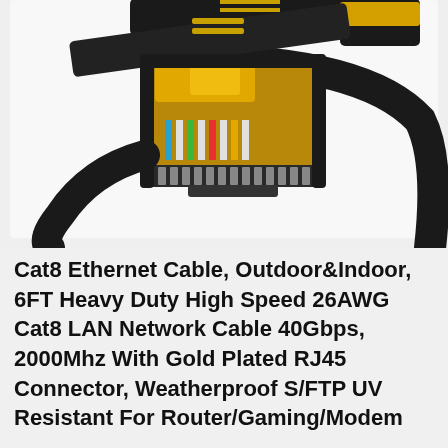[Figure (photo): Close-up photo of a Cat8 Ethernet cable with gold-plated RJ45 connectors against a light gray background. Two black flat cables with gold metallic connector ends are shown, with colored wires visible inside the connector.]
Cat8 Ethernet Cable, Outdoor&Indoor, 6FT Heavy Duty High Speed 26AWG Cat8 LAN Network Cable 40Gbps, 2000Mhz With Gold Plated RJ45 Connector, Weatherproof S/FTP UV Resistant For Router/Gaming/Modem